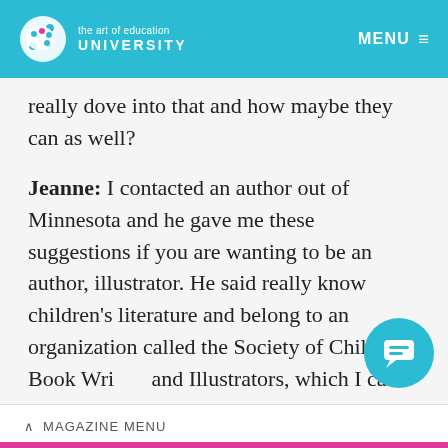the art of education UNIVERSITY | MENU
really dove into that and how maybe they can as well?
Jeanne: I contacted an author out of Minnesota and he gave me these suggestions if you are wanting to be an author, illustrator. He said really know children's literature and belong to an organization called the Society of Children's Book Writers and Illustrators, which I call SCBWI. And it's
^ MAGAZINE MENU